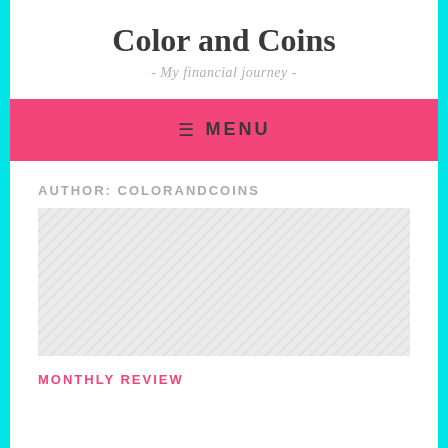Color and Coins
- My financial journey -
≡ MENU
AUTHOR: COLORANDCOINS
[Figure (other): Gray hatched placeholder image area]
MONTHLY REVIEW